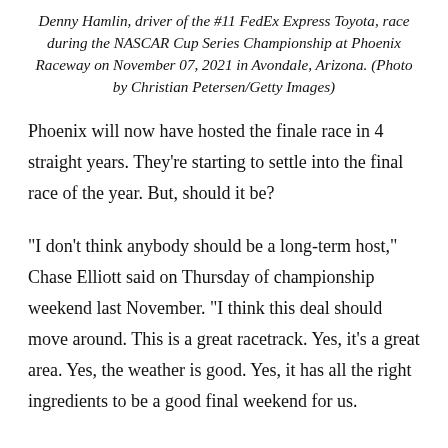Denny Hamlin, driver of the #11 FedEx Express Toyota, race during the NASCAR Cup Series Championship at Phoenix Raceway on November 07, 2021 in Avondale, Arizona. (Photo by Christian Petersen/Getty Images)
Phoenix will now have hosted the finale race in 4 straight years. They're starting to settle into the final race of the year. But, should it be?
“I don’t think anybody should be a long-term host,” Chase Elliott said on Thursday of championship weekend last November. “I think this deal should move around. This is a great racetrack. Yes, it’s a great area. Yes, the weather is good. Yes, it has all the right ingredients to be a good final weekend for us.